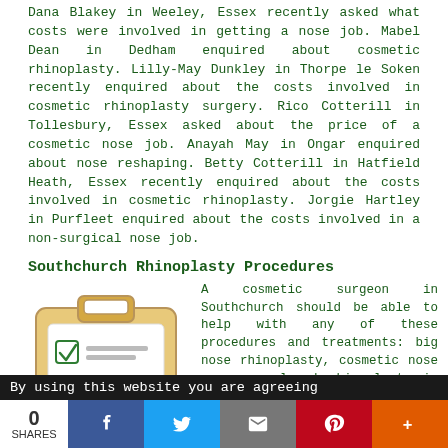Dana Blakey in Weeley, Essex recently asked what costs were involved in getting a nose job. Mabel Dean in Dedham enquired about cosmetic rhinoplasty. Lilly-May Dunkley in Thorpe le Soken recently enquired about the costs involved in cosmetic rhinoplasty surgery. Rico Cotterill in Tollesbury, Essex asked about the price of a cosmetic nose job. Anayah May in Ongar enquired about nose reshaping. Betty Cotterill in Hatfield Heath, Essex recently enquired about the costs involved in cosmetic rhinoplasty. Jorgie Hartley in Purfleet enquired about the costs involved in a non-surgical nose job.
Southchurch Rhinoplasty Procedures
[Figure (illustration): Clipboard illustration with checklist showing two checked items and one unchecked item]
A cosmetic surgeon in Southchurch should be able to help with any of these procedures and treatments: big nose rhinoplasty, cosmetic nose surgery, closed rhinoplasty in Southchurch, cheap rhinoplasty, aesthetic rhinoplasty, ethnic nose surgery, filler rhinoplasty Southchurch, nose
By using this website you are agreeing
0 SHARES | Facebook | Twitter | Email | Pinterest | More